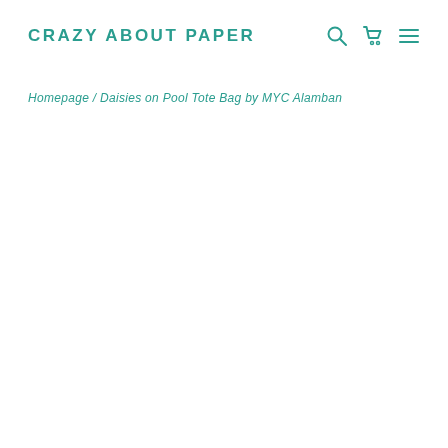CRAZY ABOUT PAPER
Homepage / Daisies on Pool Tote Bag by MYC Alamban